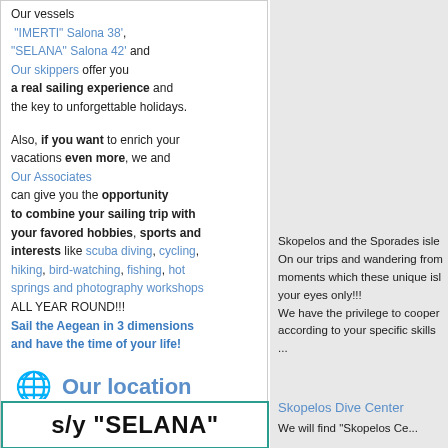Our vessels "IMERTI" Salona 38', "SELANA" Salona 42' and Our skippers offer you a real sailing experience and the key to unforgettable holidays.
Also, if you want to enrich your vacations even more, we and Our Associates can give you the opportunity to combine your sailing trip with your favored hobbies, sports and interests like scuba diving, cycling, hiking, bird-watching, fishing, hot springs and photography workshops ALL YEAR ROUND!!! Sail the Aegean in 3 dimensions and have the time of your life!
Our location
Skopelos and the Sporades isle... On our trips and wandering from... moments which these unique isl... your eyes only!!! We have the privilege to cooper... according to your specific skills ...
Skopelos Dive Center We will find "Skopelos Ce...
s/y "SELANA"